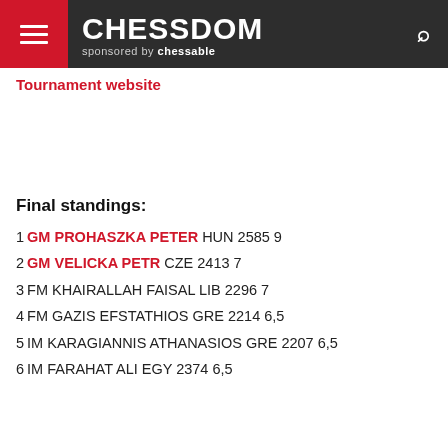CHESSDOM sponsored by chessable
Tournament website
Final standings:
1 GM PROHASZKA PETER HUN 2585 9
2 GM VELICKA PETR CZE 2413 7
3 FM KHAIRALLAH FAISAL LIB 2296 7
4 FM GAZIS EFSTATHIOS GRE 2214 6,5
5 IM KARAGIANNIS ATHANASIOS GRE 2207 6,5
6 IM FARAHAT ALI EGY 2374 6,5